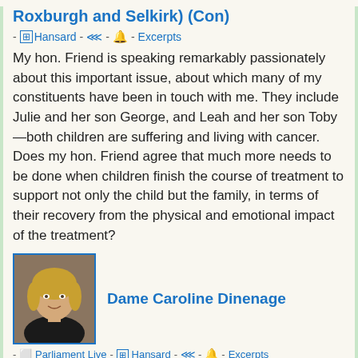Roxburgh and Selkirk) (Con)
- Hansard - - Excerpts
My hon. Friend is speaking remarkably passionately about this important issue, about which many of my constituents have been in touch with me. They include Julie and her son George, and Leah and her son Toby—both children are suffering and living with cancer. Does my hon. Friend agree that much more needs to be done when children finish the course of treatment to support not only the child but the family, in terms of their recovery from the physical and emotional impact of the treatment?
[Figure (photo): Portrait photo of Dame Caroline Dinenage, a blonde woman in a dark top]
Dame Caroline Dinenage
- Parliament Live - Hansard - - Excerpts
My hon. Friend makes an excellent point: there is such a huge impact on families who support a